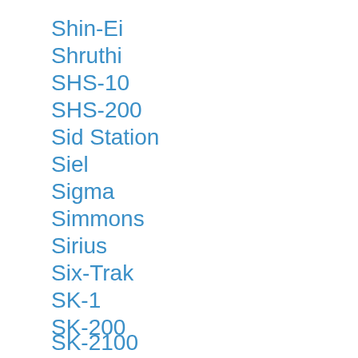Shin-Ei
Shruthi
SHS-10
SHS-200
Sid Station
Siel
Sigma
Simmons
Sirius
Six-Trak
SK-1
SK-200
SK-2100